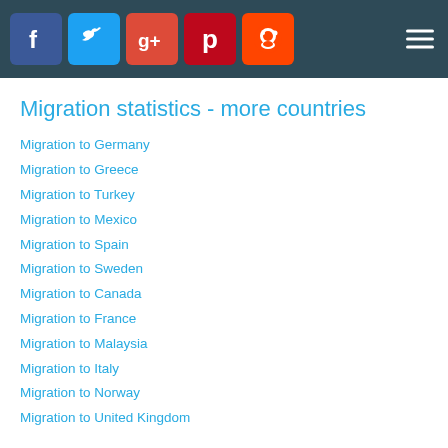Social media navigation bar with Facebook, Twitter, Google+, Pinterest, Reddit icons and hamburger menu
Migration statistics - more countries
Migration to Germany
Migration to Greece
Migration to Turkey
Migration to Mexico
Migration to Spain
Migration to Sweden
Migration to Canada
Migration to France
Migration to Malaysia
Migration to Italy
Migration to Norway
Migration to United Kingdom
More information on Yemen,